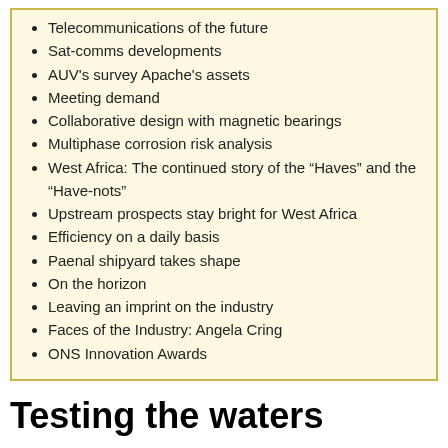Telecommunications of the future
Sat-comms developments
AUV's survey Apache's assets
Meeting demand
Collaborative design with magnetic bearings
Multiphase corrosion risk analysis
West Africa: The continued story of the “Haves” and the “Have-nots”
Upstream prospects stay bright for West Africa
Efficiency on a daily basis
Paenal shipyard takes shape
On the horizon
Leaving an imprint on the industry
Faces of the Industry: Angela Cring
ONS Innovation Awards
Testing the waters
Elaine Maslin
October 3, 2014
Elaine Maslin reports on Subsea 7’s new autonomous